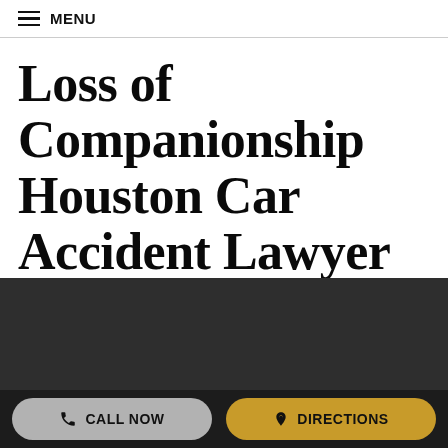≡ MENU
Loss of Companionship Houston Car Accident Lawyer
[Figure (photo): Dark background photo/image block, partially visible at bottom of page]
CALL NOW   DIRECTIONS